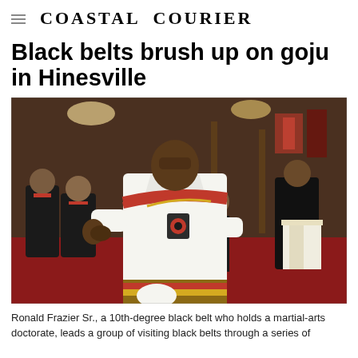Coastal Courier
Black belts brush up on goju in Hinesville
[Figure (photo): Ronald Frazier Sr., a 10th-degree black belt in a white gi with red sash, leads a group of visiting black belts through martial arts exercises inside a dojo with red mats. Other practitioners wearing black gis with red stripes and one in white pants are visible in the background.]
Ronald Frazier Sr., a 10th-degree black belt who holds a martial-arts doctorate, leads a group of visiting black belts through a series of